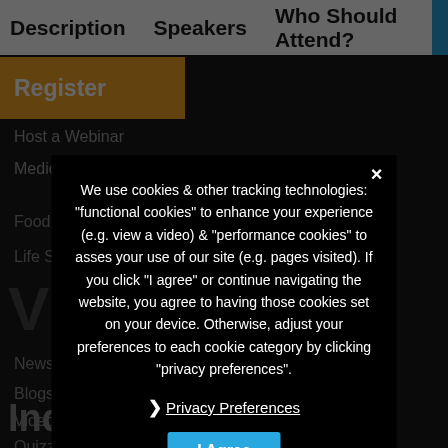Description   Speakers   Who Should Attend?
Register
Host a Webinar
Medical Devices
Food Industry
Life Sciences
Vitals
News
Blogs
Videos
Quizzes & Polls
We use cookies & other tracking technologies: "functional cookies" to enhance your experience (e.g. view a video) & "performance cookies" to asses your use of our site (e.g. pages visited). If you click "I agree" or continue navigating the website, you agree to having those cookies set on your device. Otherwise, adjust your preferences to each cookie category by clicking "privacy preferences".
Privacy Preferences
I Agree
Industry Jobs